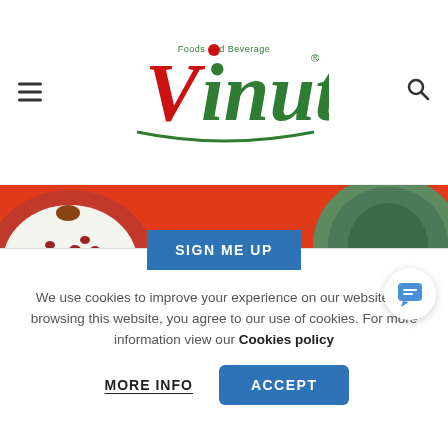[Figure (logo): Vinut Foods and Beverage logo with red and green stylized text and registered trademark symbol]
[Figure (photo): Orange/red promotional banner with pomegranate on left, green coconut on right, and a blue SIGN ME UP button in the center]
[Figure (illustration): Vinut brand palm tree illustration in green and brown colors on white background]
We use cookies to improve your experience on our website. By browsing this website, you agree to our use of cookies. For more information view our Cookies policy
MORE INFO
ACCEPT